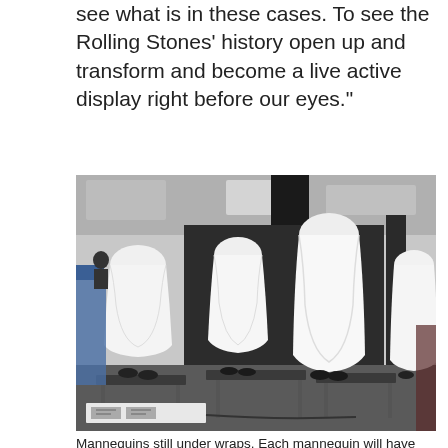see what is in these cases. To see the Rolling Stones' history open up and transform and become a live active display right before our eyes."
[Figure (photo): Several mannequins covered in white sheets/fabric standing on black metal platforms in an indoor exhibition space with dark columns and ceiling lights. A worker is visible in the background on a lift.]
Mannequins still under wraps. Each mannequin will have an unique outfit from on of the Rolling Stones' members. May 19,